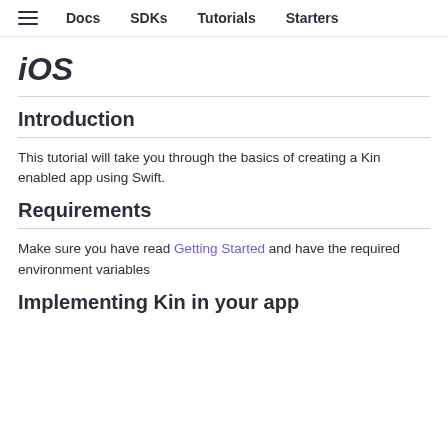≡  Docs  SDKs  Tutorials  Starters
iOS
Introduction
This tutorial will take you through the basics of creating a Kin enabled app using Swift.
Requirements
Make sure you have read Getting Started and have the required environment variables
Implementing Kin in your app